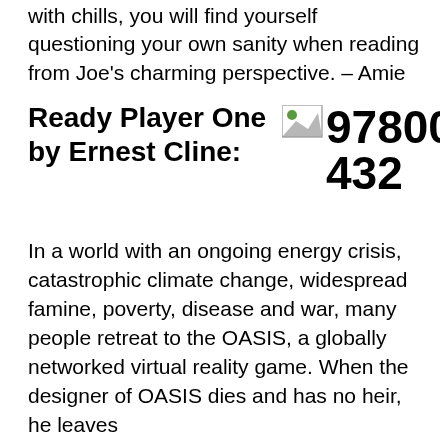with chills, you will find yourself questioning your own sanity when reading from Joe's charming perspective. – Amie
Ready Player One by Ernest Cline:
[Figure (illustration): Broken image icon followed by ISBN number 9780099560432 displayed in large bold text]
In a world with an ongoing energy crisis, catastrophic climate change, widespread famine, poverty, disease and war, many people retreat to the OASIS, a globally networked virtual reality game. When the designer of OASIS dies and has no heir, he leaves